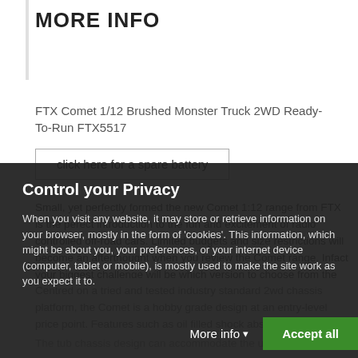MORE INFO
FTX Comet 1/12 Brushed Monster Truck 2WD Ready-To-Run FTX5517
click here for a spare battery
Small, yet perfectly formed the new Comet 1:12 range from FTX is the perect introduction to the fun and excitement of radio controlled off-road cars. Limited budgets and size restrictions will become an afterthought when you review the Comet range. Infact your biggest challenge will be which version to choose from the four different editions available.
Centred on a tried and tested industry standard 2wd chassis platform, the Comet is a hobby grade design at an entry-level price point. Features such as oil filled shock absorbers, ball
Control your Privacy
When you visit any website, it may store or retrieve information on your browser, mostly in the form of 'cookies'. This information, which might be about you, your preferences, or your internet device (computer, tablet or mobile), is mostly used to make the site work as you expect it to.
The tub chassis design can accommodate the use
More info
Accept all